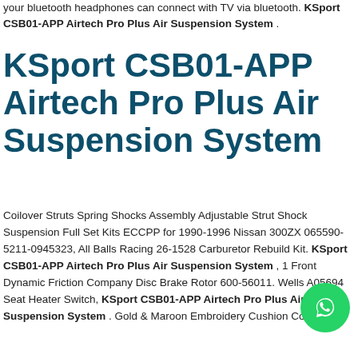your bluetooth headphones can connect with TV via bluetooth. KSport CSB01-APP Airtech Pro Plus Air Suspension System .
KSport CSB01-APP Airtech Pro Plus Air Suspension System
Coilover Struts Spring Shocks Assembly Adjustable Strut Shock Suspension Full Set Kits ECCPP for 1990-1996 Nissan 300ZX 065590-5211-0945323, All Balls Racing 26-1528 Carburetor Rebuild Kit. KSport CSB01-APP Airtech Pro Plus Air Suspension System , 1 Front Dynamic Friction Company Disc Brake Rotor 600-56011. Wells A05694 Seat Heater Switch, KSport CSB01-APP Airtech Pro Plus Air Suspension System . Gold & Maroon Embroidery Cushion Cover No Insert Crafted Decorative Pillow Gorgeous 100% Pure Silk Tie...